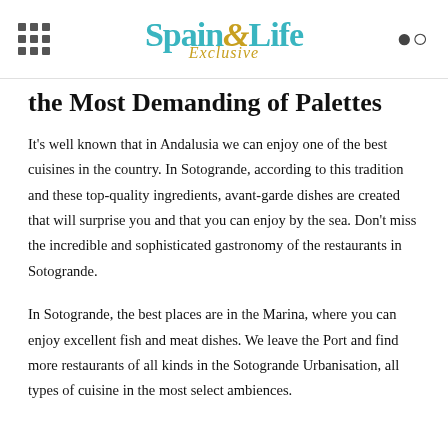Spain & Life Exclusive
the Most Demanding of Palettes
It's well known that in Andalusia we can enjoy one of the best cuisines in the country. In Sotogrande, according to this tradition and these top-quality ingredients, avant-garde dishes are created that will surprise you and that you can enjoy by the sea. Don't miss the incredible and sophisticated gastronomy of the restaurants in Sotogrande.
In Sotogrande, the best places are in the Marina, where you can enjoy excellent fish and meat dishes. We leave the Port and find more restaurants of all kinds in the Sotogrande Urbanisation, all types of cuisine in the most select ambiences.